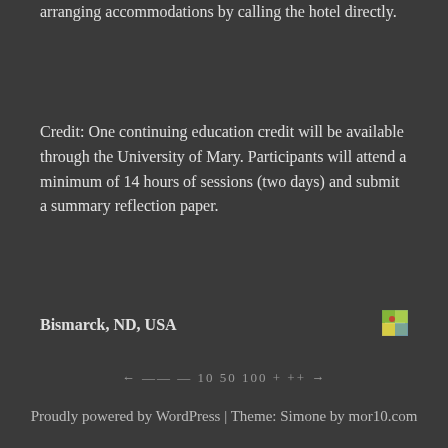arranging accommodations by calling the hotel directly.
Credit: One continuing education credit will be available through the University of Mary. Participants will attend a minimum of 14 hours of sessions (two days) and submit a summary reflection paper.
Bismarck, ND, USA
[Figure (map): Small map icon thumbnail showing location]
← —— — 10 50 100 + ++ →
Proudly powered by WordPress | Theme: Simone by mor10.com